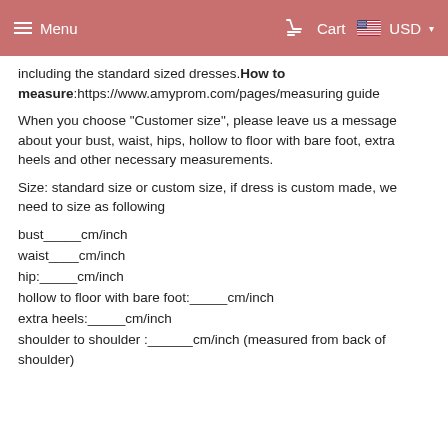Menu  Cart  USD
including the standard sized dresses.How to measure:https://www.amyprom.com/pages/measuring guide
When you choose "Customer size", please leave us a message about your bust, waist, hips, hollow to floor with bare foot, extra heels and other necessary measurements.
Size: standard size or custom size, if dress is custom made, we need to size as following
bust_____cm/inch
waist____cm/inch
hip:_____cm/inch
hollow to floor with bare foot:_____cm/inch
extra heels:_____cm/inch
shoulder to shoulder :______cm/inch (measured from back of shoulder)